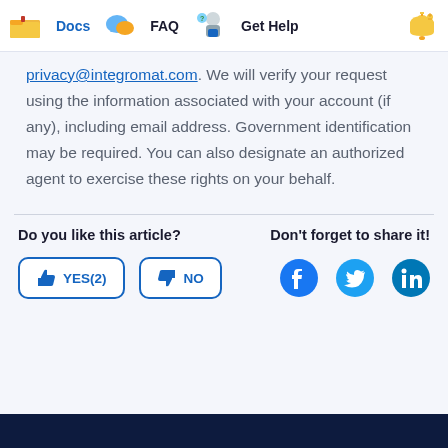Docs  FAQ  Get Help
privacy@integromat.com. We will verify your request using the information associated with your account (if any), including email address. Government identification may be required. You can also designate an authorized agent to exercise these rights on your behalf.
Do you like this article?   Don't forget to share it!   YES(2)  NO